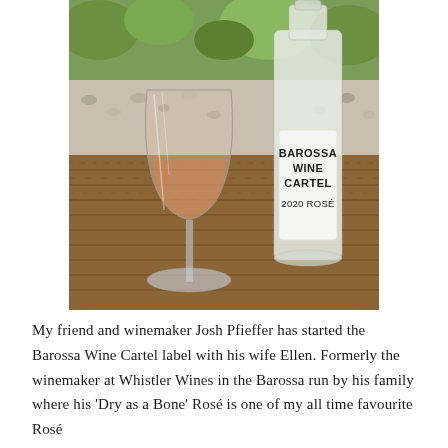[Figure (photo): A glass of rosé wine and a bottle labeled 'Barossa Wine Cartel 2020 Rosé' sitting on a wooden deck table outdoors with greenery and pebbles in the background.]
My friend and winemaker Josh Pfieffer has started the Barossa Wine Cartel label with his wife Ellen. Formerly the winemaker at Whistler Wines in the Barossa run by his family where his 'Dry as a Bone' Rosé is one of my all time favourite Rosé...